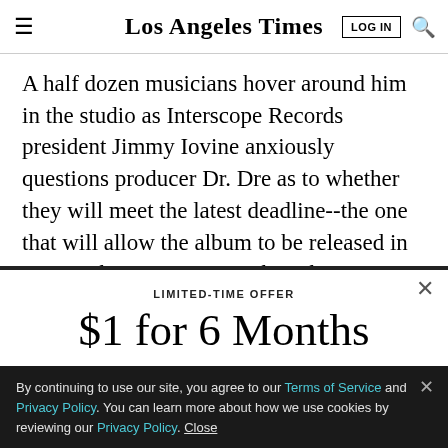Los Angeles Times
A half dozen musicians hover around him in the studio as Interscope Records president Jimmy Iovine anxiously questions producer Dr. Dre as to whether they will meet the latest deadline--the one that will allow the album to be released in two weeks. Dre reassures him the
LIMITED-TIME OFFER
$1 for 6 Months
SUBSCRIBE NOW
By continuing to use our site, you agree to our Terms of Service and Privacy Policy. You can learn more about how we use cookies by reviewing our Privacy Policy. Close